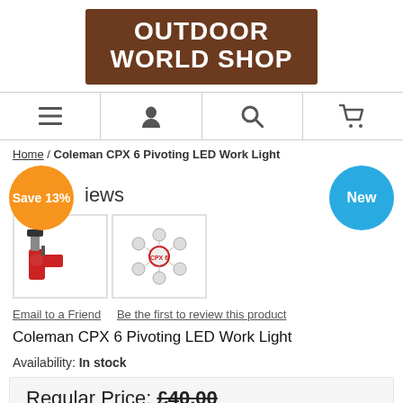[Figure (logo): Outdoor World Shop logo — white bold text on brown background]
[Figure (infographic): Navigation bar with menu (hamburger), account (person), search (magnifier), and cart icons]
Home / Coleman CPX 6 Pivoting LED Work Light
[Figure (infographic): Orange 'Save 13%' badge circle on the left, cyan 'New' badge circle on the right, product image thumbnails in center]
Email to a Friend   Be the first to review this product
Coleman CPX 6 Pivoting LED Work Light
Availability: In stock
Regular Price: £40.00